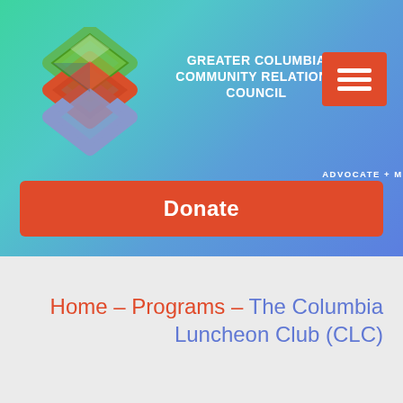[Figure (logo): Greater Columbia Community Relations Council geometric logo with interlocking diamond shapes in green, red/orange, and blue/silver, on a teal-to-blue gradient header background]
GREATER COLUMBIA COMMUNITY RELATIONS COUNCIL
ADVOCATE + MEDIATE + EDUCATE
[Figure (other): Red/orange hamburger menu button with three horizontal white lines]
Donate
Home – Programs – The Columbia Luncheon Club (CLC)